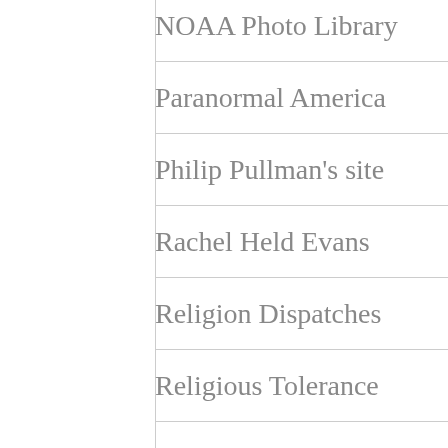NOAA Photo Library
Paranormal America
Philip Pullman's site
Rachel Held Evans
Religion Dispatches
Religious Tolerance
Robert M. Price
Rosslyn Chapel official site
Scent of Desire
Science and Religion Today